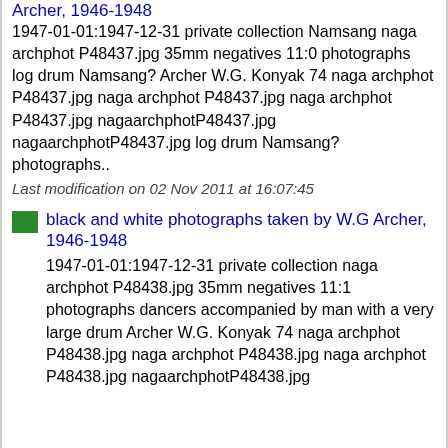Archer, 1946-1948
1947-01-01:1947-12-31 private collection Namsang naga archphot P48437.jpg 35mm negatives 11:0 photographs log drum Namsang? Archer W.G. Konyak 74 naga archphot P48437.jpg naga archphot P48437.jpg naga archphot P48437.jpg nagaarchphotP48437.jpg nagaarchphotP48437.jpg log drum Namsang? photographs..
Last modification on 02 Nov 2011 at 16:07:45
black and white photographs taken by W.G Archer, 1946-1948
1947-01-01:1947-12-31 private collection naga archphot P48438.jpg 35mm negatives 11:1 photographs dancers accompanied by man with a very large drum Archer W.G. Konyak 74 naga archphot P48438.jpg naga archphot P48438.jpg naga archphot P48438.jpg nagaarchphotP48438.jpg